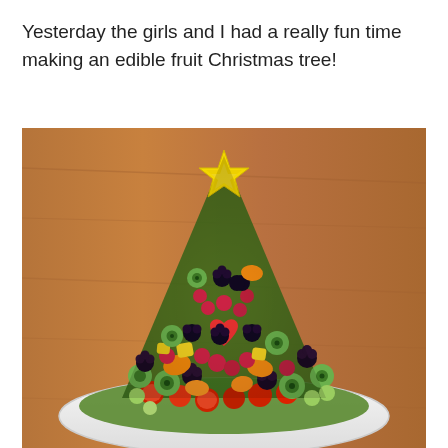Yesterday the girls and I had a really fun time making an edible fruit Christmas tree!
[Figure (photo): A Christmas tree shaped arrangement of assorted fruits on a white plate. The tree is made of blackberries, raspberries, strawberries, kiwi slices, mandarin orange segments, grapes, pineapple chunks, and a heart-shaped watermelon piece. A yellow star-fruit slice sits on top as the tree topper. The plate rests on a wooden table.]